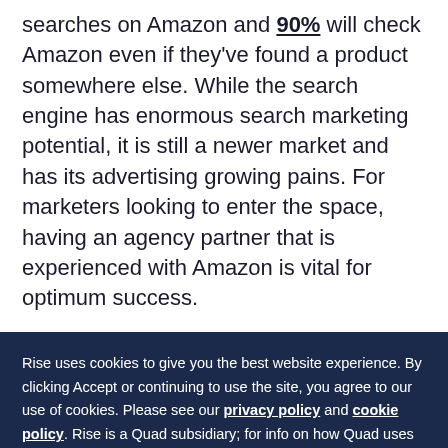searches on Amazon and 90% will check Amazon even if they've found a product somewhere else. While the search engine has enormous search marketing potential, it is still a newer market and has its advertising growing pains. For marketers looking to enter the space, having an agency partner that is experienced with Amazon is vital for optimum success.
Rise uses cookies to give you the best website experience. By clicking Accept or continuing to use the site, you agree to our use of cookies. Please see our privacy policy and cookie policy. Rise is a Quad subsidiary; for info on how Quad uses cookies, please visit their privacy policy.
Accept